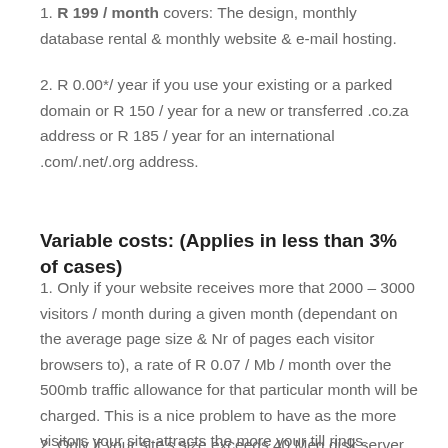1. R 199 / month covers: The design, monthly database rental & monthly website & e-mail hosting.
2. R 0.00*/ year if you use your existing or a parked domain or R 150 / year for a new or transferred .co.za address or R 185 / year for an international .com/.net/.org address.
Variable costs: (Applies in less than 3% of cases)
1. Only if your website receives more that 2000 – 3000 visitors / month during a given month (dependant on the average page size & Nr of pages each visitor browsers to), a rate of R 0.07 / Mb / month over the 500mb traffic allowance for that particular month will be charged. This is a nice problem to have as the more visitors your site attracts the more your till rings.
2. Only if your site's size exceeds 40 Meg disk server